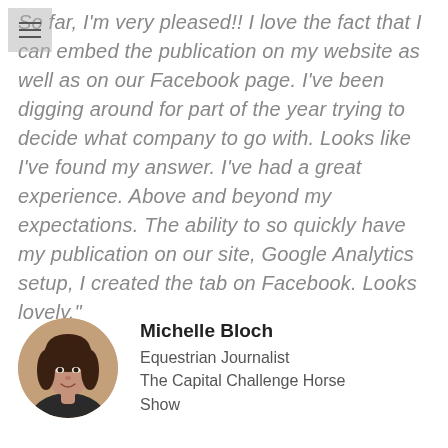So far, I'm very pleased!! I love the fact that I can embed the publication on my website as well as on our Facebook page. I've been digging around for part of the year trying to decide what company to go with. Looks like I've found my answer. I've had a great experience. Above and beyond my expectations. The ability to so quickly have my publication on our site, Google Analytics setup, I created the tab on Facebook. Looks lovely."
[Figure (photo): Circular profile photo of Michelle Bloch, a woman with dark hair]
Michelle Bloch
Equestrian Journalist
The Capital Challenge Horse Show